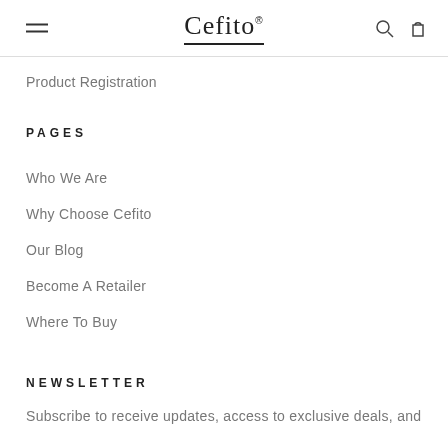Cefito
Product Registration
PAGES
Who We Are
Why Choose Cefito
Our Blog
Become A Retailer
Where To Buy
NEWSLETTER
Subscribe to receive updates, access to exclusive deals, and